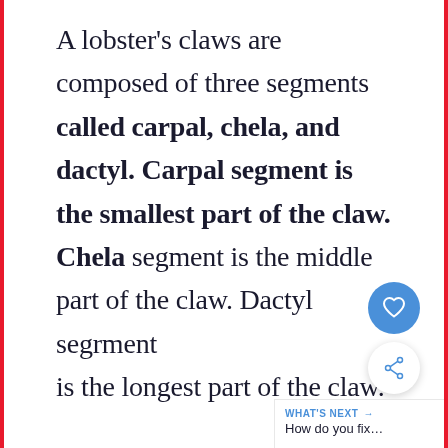A lobster's claws are composed of three segments called carpal, chela, and dactyl. Carpal segment is the smallest part of the claw. Chela segment is the middle part of the claw. Dactyl segment is the longest part of the claw.